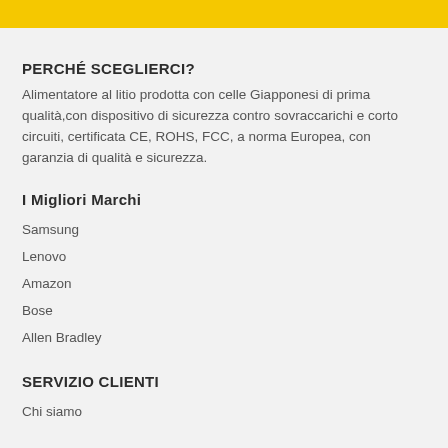PERCHÉ SCEGLIERCI?
Alimentatore al litio prodotta con celle Giapponesi di prima qualità,con dispositivo di sicurezza contro sovraccarichi e corto circuiti, certificata CE, ROHS, FCC, a norma Europea, con garanzia di qualità e sicurezza.
I Migliori Marchi
Samsung
Lenovo
Amazon
Bose
Allen Bradley
SERVIZIO CLIENTI
Chi siamo